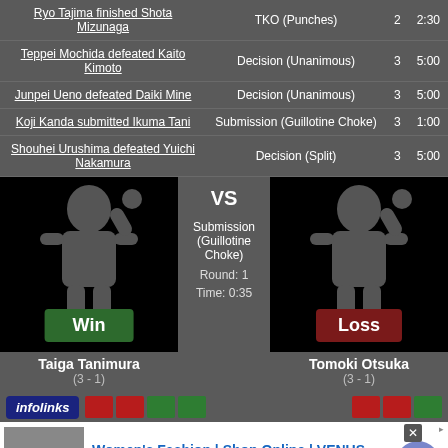| Fighter | Method | Rd | Time |
| --- | --- | --- | --- |
| Ryo Tajima finished Shota Mizunaga | TKO (Punches) | 2 | 2:30 |
| Teppei Mochida defeated Kaito Kimoto | Decision (Unanimous) | 3 | 5:00 |
| Junpei Ueno defeated Daiki Mine | Decision (Unanimous) | 3 | 5:00 |
| Koji Kanda submitted Ikuma Tani | Submission (Guillotine Choke) | 3 | 1:00 |
| Shouhei Urushima defeated Yuichi Nakamura | Decision (Split) | 3 | 5:00 |
[Figure (infographic): Matchup card: Taiga Tanimura (Win) vs Tomoki Otsuka (Loss). Submission (Guillotine Choke), Round: 1, Time: 0:35]
Taiga Tanimura
(3 - 1)
Tomoki Otsuka
(3 - 1)
[Figure (infographic): Advertisement: infolinks banner with ad buttons]
[Figure (infographic): Advertisement: Women's Fashion | Shop Online | VENUS - Shop the best in women's fashion, clothing, swimwear. venus.com]